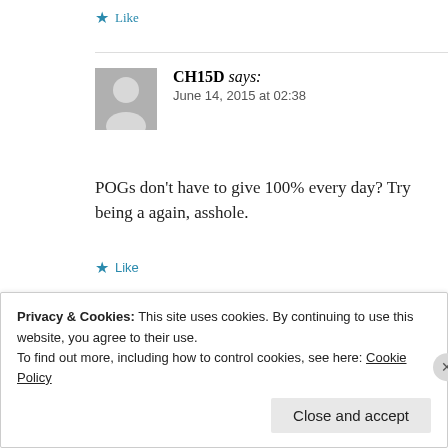★ Like
CH15D says:
June 14, 2015 at 02:38
POGs don't have to give 100% every day? Try being a again, asshole.
★ Like
mike says:
March 6, 2016 at 13:49
Privacy & Cookies: This site uses cookies. By continuing to use this website, you agree to their use.
To find out more, including how to control cookies, see here: Cookie Policy
Close and accept